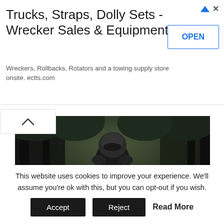Trucks, Straps, Dolly Sets - Wrecker Sales & Equipment
Wreckers, Rollbacks, Rotators and a towing supply store onsite. ectts.com
[Figure (photo): Motorcyclist in full black gear and helmet riding a motorcycle toward the camera on a dark tree-lined road, viewed from the front]
This website uses cookies to improve your experience. We'll assume you're ok with this, but you can opt-out if you wish.